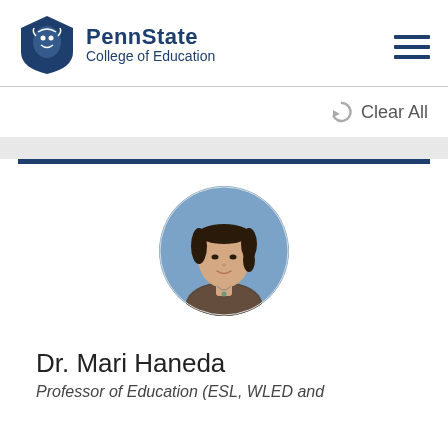PennState College of Education
Clear All
[Figure (photo): Circular headshot photo of Dr. Mari Haneda against a blue background]
Dr. Mari Haneda
Professor of Education (ESL, WLED and